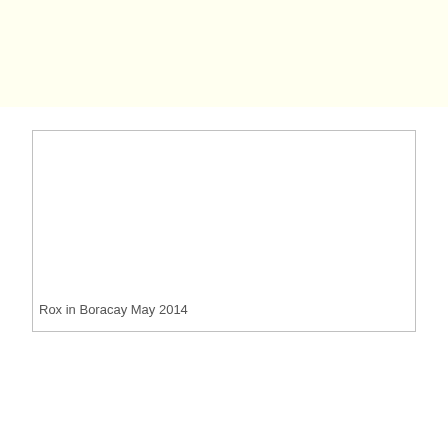[Figure (photo): A mostly blank white rectangular box with a light yellow band at the top of the page. The box contains the caption 'Rox in Boracay May 2014' at the bottom left.]
Rox in Boracay May 2014